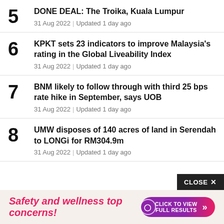5 DONE DEAL: The Troika, Kuala Lumpur — 31 Aug 2022 | Updated 1 day ago
6 KPKT sets 23 indicators to improve Malaysia's rating in the Global Liveability Index — 31 Aug 2022 | Updated 1 day ago
7 BNM likely to follow through with third 25 bps rate hike in September, says UOB — 31 Aug 2022 | Updated 1 day ago
8 UMW disposes of 140 acres of land in Serendah to LONGi for RM304.9m — 31 Aug 2022 | Updated 1 day ago
[Figure (screenshot): Advertisement banner: 'Safety and wellness top concerns!' with a CLICK TO VIEW FULL RESULTS button, and a CLOSE button above.]